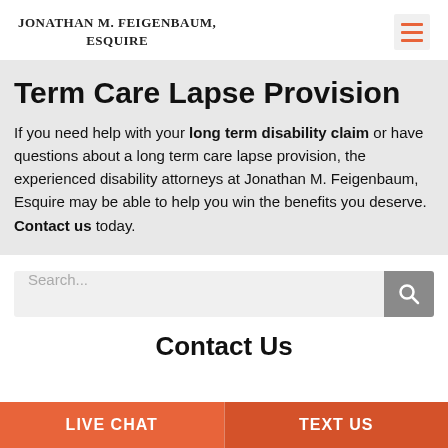JONATHAN M. FEIGENBAUM, ESQUIRE
Term Care Lapse Provision
If you need help with your long term disability claim or have questions about a long term care lapse provision, the experienced disability attorneys at Jonathan M. Feigenbaum, Esquire may be able to help you win the benefits you deserve. Contact us today.
Search...
Contact Us
LIVE CHAT | TEXT US